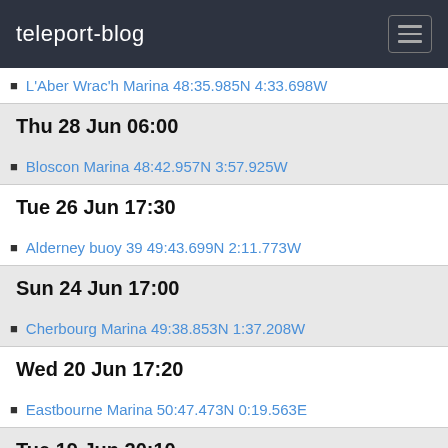teleport-blog
L'Aber Wrac'h Marina 48:35.985N 4:33.698W
Thu 28 Jun 06:00
Bloscon Marina 48:42.957N 3:57.925W
Tue 26 Jun 17:30
Alderney buoy 39 49:43.699N 2:11.773W
Sun 24 Jun 17:00
Cherbourg Marina 49:38.853N 1:37.208W
Wed 20 Jun 17:20
Eastbourne Marina 50:47.473N 0:19.563E
Tue 19 Jun 20:10
Boulogne 50:43.51N 001:35.95E
Mon 18 Jun 17:00
Breskens Marina 51:23.841N 3:34.159E
May 2012
Mon 21 May 17:00